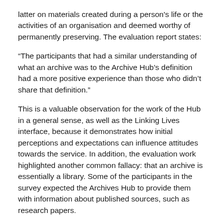latter on materials created during a person's life or the activities of an organisation and deemed worthy of permanently preserving. The evaluation report states:
“The participants that had a similar understanding of what an archive was to the Archive Hub’s definition had a more positive experience than those who didn’t share that definition.”
This is a valuable observation for the work of the Hub in a general sense, as well as the Linking Lives interface, because it demonstrates how initial perceptions and expectations can influence attitudes towards the service. In addition, the evaluation work highlighted another common fallacy: that an archive is essentially a library. Some of the participants in the survey expected the Archives Hub to provide them with information about published sources, such as research papers.
These findings highlight one of the issues when trying to evaluate the likely value of an innovative service: researchers do not think in the same language or with the same perspectives as